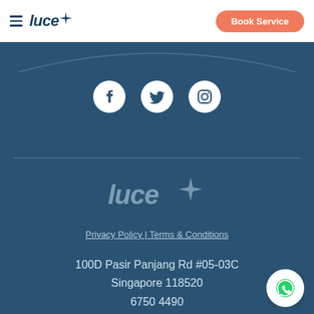luce — Book Service
[Figure (logo): Luce logo with star/sparkle accent and hamburger menu, plus orange Book Service button]
[Figure (infographic): Three social media icons: Facebook, Twitter, Instagram — white circles on dark teal background]
[Figure (logo): Luce logo in muted teal/grey on dark teal footer background with sparkle star accent]
Privacy Policy | Terms & Conditions
100D Pasir Panjang Rd #05-03C
Singapore 118520
6750 4490
[Figure (infographic): WhatsApp floating action button — white circle with green WhatsApp icon]